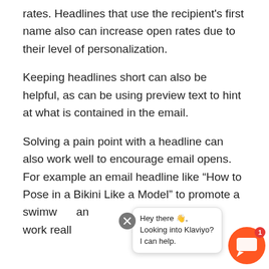rates. Headlines that use the recipient's first name also can increase open rates due to their level of personalization.
Keeping headlines short can also be helpful, as can be using preview text to hint at what is contained in the email.
Solving a pain point with a headline can also work well to encourage email opens. For example an email headline like “How to Pose in a Bikini Like a Model” to promote a swimwear an work reall se
[Figure (screenshot): Chat widget overlay with close button (X), chat bubble saying 'Hey there 👋, Looking into Klaviyo? I can help.', and an orange chat icon with notification badge showing 1]